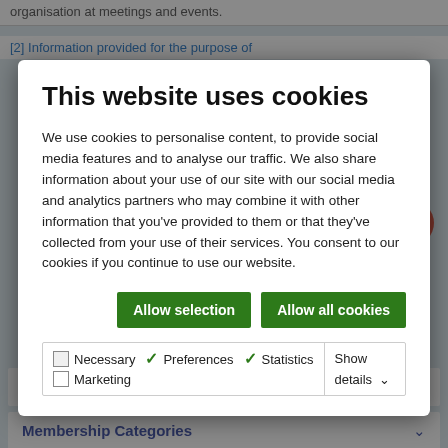organisation at meetings and events.
[2] Information provided for the purpose of
This website uses cookies
We use cookies to personalise content, to provide social media features and to analyse our traffic. We also share information about your use of our site with our social media and analytics partners who may combine it with other information that you've provided to them or that they've collected from your use of their services. You consent to our cookies if you continue to use our website.
Allow selection
Allow all cookies
Necessary   Preferences   Statistics   Marketing   Show details
Purple for Polio Crocus Corms
Membership Categories